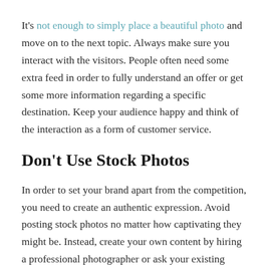It's not enough to simply place a beautiful photo and move on to the next topic. Always make sure you interact with the visitors. People often need some extra feed in order to fully understand an offer or get some more information regarding a specific destination. Keep your audience happy and think of the interaction as a form of customer service.
Don't Use Stock Photos
In order to set your brand apart from the competition, you need to create an authentic expression. Avoid posting stock photos no matter how captivating they might be. Instead, create your own content by hiring a professional photographer or ask your existing clients to share their holiday photos and tag your brand. Statistics show that Instagram posts generate 4.2 “likes” per day with more than 95 million photos and videos shared every day. Publishing photos that could already exist on Instagram could result